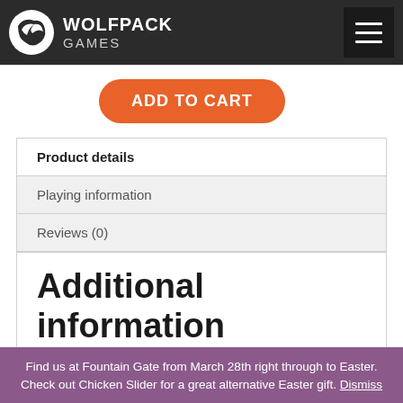WOLFPACK GAMES
ADD TO CART
Product details
Playing information
Reviews (0)
Additional information
| Weight | 30 g |
| --- | --- |
Find us at Fountain Gate from March 28th right through to Easter. Check out Chicken Slider for a great alternative Easter gift. Dismiss